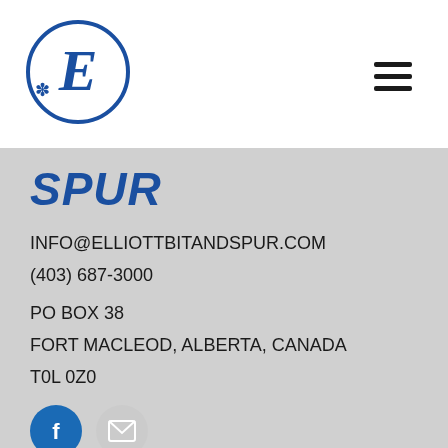[Figure (logo): Elliott Bit and Spur logo: a blue circle with a decorative letter E and asterisk/spur design inside]
[Figure (other): Hamburger menu icon (three horizontal lines)]
SPUR
INFO@ELLIOTTBITANDSPUR.COM
(403) 687-3000
PO BOX 38
FORT MACLEOD, ALBERTA, CANADA
T0L 0Z0
[Figure (other): Facebook icon (blue circle with white F) and email icon (gray circle with white envelope)]